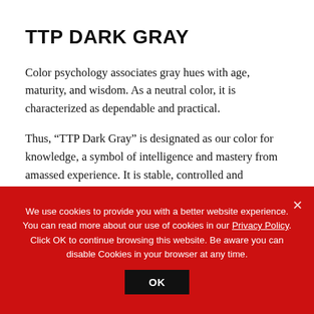TTP DARK GRAY
Color psychology associates gray hues with age, maturity, and wisdom. As a neutral color, it is characterized as dependable and practical.
Thus, “TTP Dark Gray” is designated as our color for knowledge, a symbol of intelligence and mastery from amassed experience. It is stable, controlled and
We use cookies to provide you with a better website experience. You can read more about our use of cookies in our Privacy Policy. Click OK to continue browsing this website. Be aware you can disable Cookies in your browser at any time.